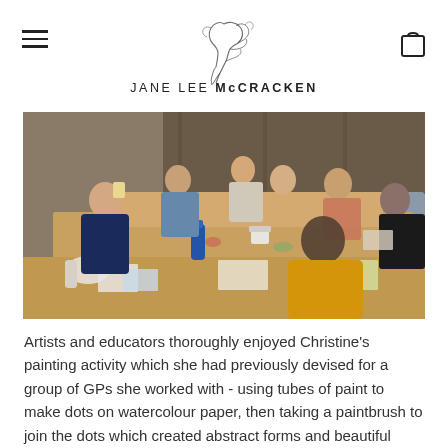JANE LEE McCRACKEN
[Figure (photo): Workshop scene with multiple people seated around tables covered with art supplies, paints, brushes, and paper. Participants are engaged in a painting activity in what appears to be a meeting or conference room with wooden wall panels.]
Artists and educators thoroughly enjoyed Christine's painting activity which she had previously devised for a group of GPs she worked with - using tubes of paint to make dots on watercolour paper, then taking a paintbrush to join the dots which created abstract forms and beautiful colours. Ceramic Artist Megan Randall's activity involved creating a face by cutting out old decals she had collected from manufacturers such as Spode, and